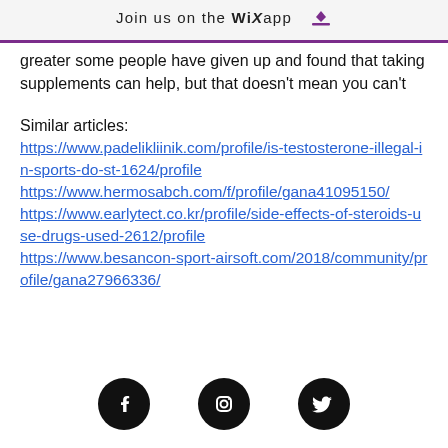Join us on the WiX app ↓
greater some people have given up and found that taking supplements can help, but that doesn't mean you can't
Similar articles:
https://www.padelikliinik.com/profile/is-testosterone-illegal-in-sports-do-st-1624/profile https://www.hermosabch.com/f/profile/gana41095150/ https://www.earlytect.co.kr/profile/side-effects-of-steroids-use-drugs-used-2612/profile https://www.besancon-sport-airsoft.com/2018/community/profile/gana27966336/
[Figure (other): Social media icons: Facebook, Instagram, Twitter (circular black icons)]